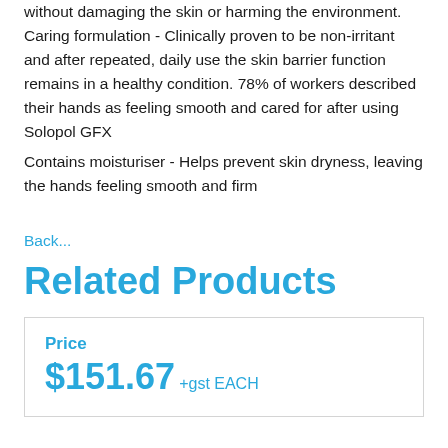without damaging the skin or harming the environment. Caring formulation - Clinically proven to be non-irritant and after repeated, daily use the skin barrier function remains in a healthy condition. 78% of workers described their hands as feeling smooth and cared for after using Solopol GFX
Contains moisturiser - Helps prevent skin dryness, leaving the hands feeling smooth and firm
Back...
Related Products
Price
$151.67 +gst EACH